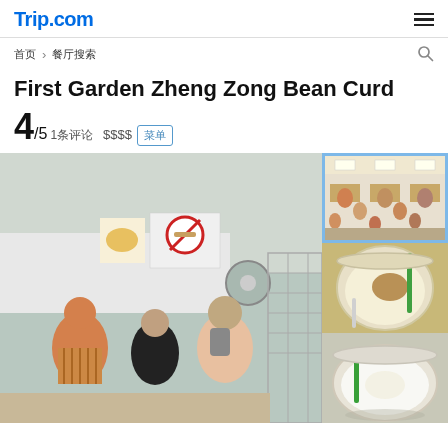Trip.com
首页 > 餐厅搜索
First Garden Zheng Zong Bean Curd
4/5 1条评论  $$$$  菜单
[Figure (photo): Collage of 4 photos: main large photo showing the hawker stall exterior with customers queuing; top-right photo showing crowded indoor dining area; middle-right photo showing bean curd dessert in a plastic cup; bottom-right photo showing another bean curd dessert in a bowl.]